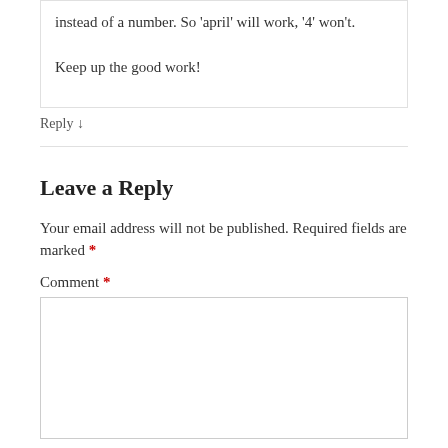instead of a number. So 'april' will work, '4' won't.

Keep up the good work!
Reply ↓
Leave a Reply
Your email address will not be published. Required fields are marked *
Comment *